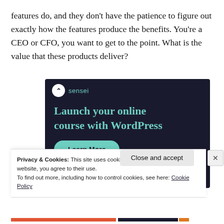features do, and they don't have the patience to figure out exactly how the features produce the benefits. You're a CEO or CFO, you want to get to the point. What is the value that these products deliver?
[Figure (illustration): Advertisement banner for Sensei WordPress plugin. Dark navy background with teal Sensei logo and text 'Launch your online course with WordPress' and a teal 'Learn More' button.]
Privacy & Cookies: This site uses cookies. By continuing to use this website, you agree to their use.
To find out more, including how to control cookies, see here: Cookie Policy